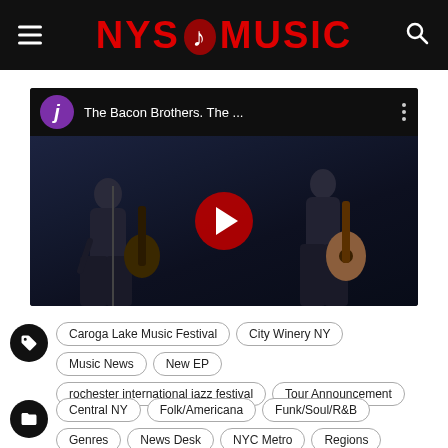NYS Music
[Figure (screenshot): YouTube video thumbnail showing The Bacon Brothers performing live on stage. Dark concert photo with two guitarists visible. Video title bar at top reads 'The Bacon Brothers. The ...' with a purple avatar circle showing 'j' and a three-dot menu. Large red YouTube play button in center.]
Caroga Lake Music Festival | City Winery NY | Music News | New EP | rochester international jazz festival | Tour Announcement
Central NY | Folk/Americana | Funk/Soul/R&B | Genres | News Desk | NYC Metro | Regions